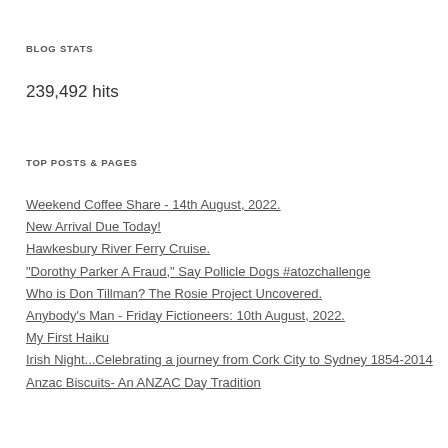BLOG STATS
239,492 hits
TOP POSTS & PAGES
Weekend Coffee Share - 14th August, 2022.
New Arrival Due Today!
Hawkesbury River Ferry Cruise.
"Dorothy Parker A Fraud," Say Pollicle Dogs #atozchallenge
Who is Don Tillman? The Rosie Project Uncovered.
Anybody's Man - Friday Fictioneers: 10th August, 2022.
My First Haiku
Irish Night...Celebrating a journey from Cork City to Sydney 1854-2014
Anzac Biscuits- An ANZAC Day Tradition